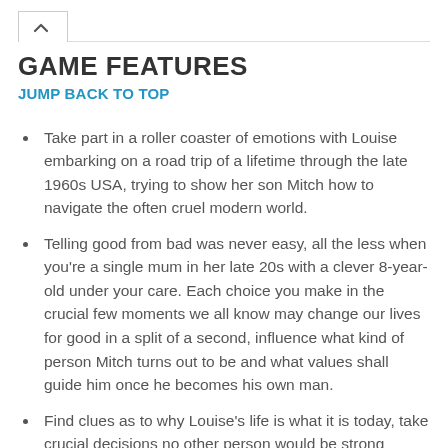GAME FEATURES
JUMP BACK TO TOP
Take part in a roller coaster of emotions with Louise embarking on a road trip of a lifetime through the late 1960s USA, trying to show her son Mitch how to navigate the often cruel modern world.
Telling good from bad was never easy, all the less when you're a single mum in her late 20s with a clever 8-year-old under your care. Each choice you make in the crucial few moments we all know may change our lives for good in a split of a second, influence what kind of person Mitch turns out to be and what values shall guide him once he becomes his own man.
Find clues as to why Louise's life is what it is today, take crucial decisions no other person would be strong enough to stomach, and show...